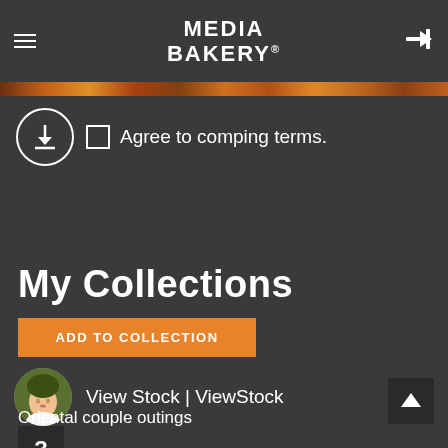MEDIA BAKERY®
Agree to comping terms.
My Collections
ADD TO COLLECTION
View Stock | ViewStock
Oriental couple outings